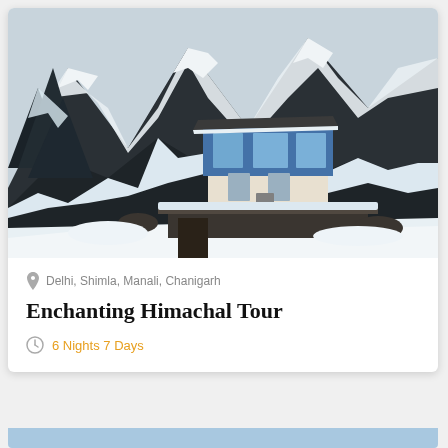[Figure (photo): Winter mountain landscape with a blue and white building/chalet nestled among snow-covered slopes and rocky dark mountain peaks in the background]
Delhi, Shimla, Manali, Chanigarh
Enchanting Himachal Tour
6 Nights 7 Days